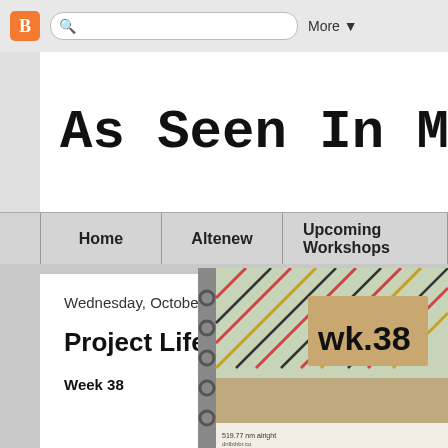[Figure (screenshot): Browser navigation bar with Blogger orange icon, search box with magnifying glass, and More dropdown button]
As Seen In My
Home | Altenew | Upcoming Workshops
Wednesday, October 31, 2012
Project Life Week 38
Week 38
[Figure (photo): Scrapbook page showing a kraft cardstock label with 'wk.38' text on a striped diagonal pattern background with rings visible on the left side. Small text at the bottom appears to be journaling.]